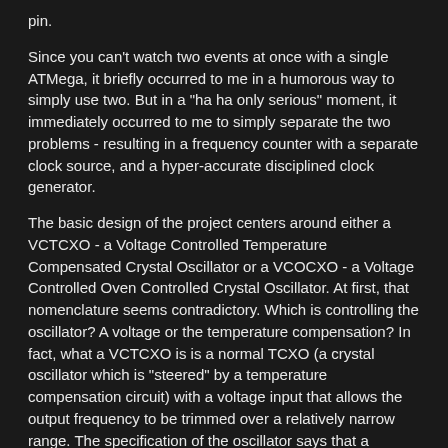pin.
Since you can't watch two events at once with a single ATMega, it briefly occurred to me in a humorous way to simply use two. But in a "ha ha only serious" moment, it immediately occurred to me to simply separate the two problems - resulting in a frequency counter with a separate clock source, and a hyper-accurate disciplined clock generator.
The basic design of the project centers around either a VCTCXO - a Voltage Controlled Temperature Compensated Crystal Oscillator or a VCOCXO - a Voltage Controlled Oven Controlled Crystal Oscillator. At first, that nomenclature seems contradictory. Which is controlling the oscillator? A voltage or the temperature compensation? In fact, what a VCTCXO is is a normal TCXO (a crystal oscillator which is "steered" by a temperature compensation circuit) with a voltage input that allows the output frequency to be trimmed over a relatively narrow range. The specification of the oscillator says that a voltage